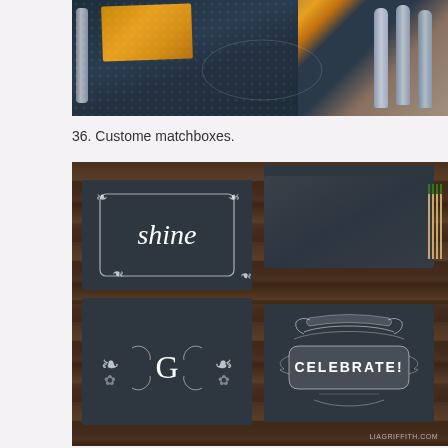[Figure (photo): Photo of table setting with dark blue textured tablecloth, folded yellow/gold napkin, and metallic silverware spoons on white background]
36. Custome matchboxes.
[Figure (photo): Photo of four custom chalkboard matchboxes arranged in a 2x2 grid on a rustic wooden surface. Top-left shows 'shine' in cursive with decorative border. Top-right shows 'S' monogram in circle with decorative details and open box with matches. Bottom-left shows 'G' monogram with decorative flourishes and open box with matches. Bottom-right shows 'CELEBRATE!' in banner. Watermark reads LIAGRIFFITH.COM]